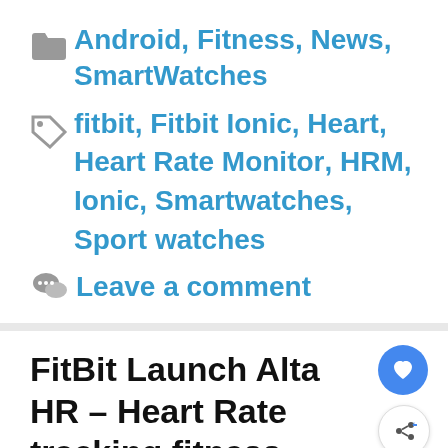Android, Fitness, News, SmartWatches
fitbit, Fitbit Ionic, Heart, Heart Rate Monitor, HRM, Ionic, Smartwatches, Sport watches
Leave a comment
FitBit Launch Alta HR – Heart Rate tracking fitness tracker
7th March 2017 by James Smythe
WhiteLabelCommunications
Private Label VoIP Reseller Platform -
White Label Communications
OPEN